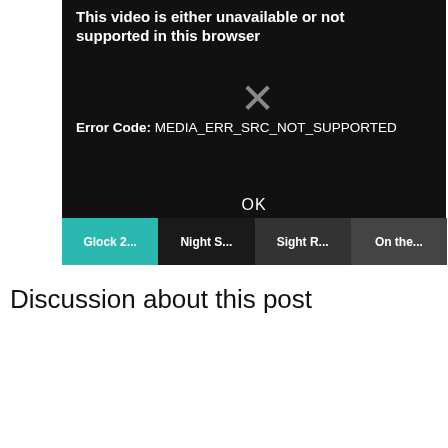[Figure (screenshot): Browser video error dialog on dark background showing 'This video is either unavailable or not supported in this browser' with an X symbol and error code MEDIA_ERR_SRC_NOT_SUPPORTED and OK button, with thumbnail strip below showing Glock 2..., Night S..., Sight R..., On the...]
Discussion about this post
[Figure (advertisement): ICONIC by RISE advertisement banner showing logo and 'Independent Two-Stage Trigger' text with gun trigger hardware image]